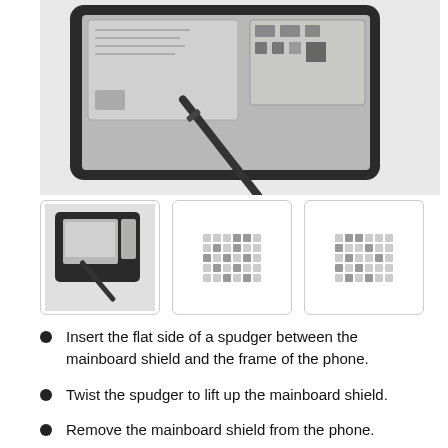[Figure (photo): Close-up photo of a smartphone being pried open with a spudger tool, showing the mainboard shield and internal components including battery and SIM card area.]
[Figure (photo): Thumbnail 1: Small version of the main image showing the phone being pried with a spudger.]
[Figure (photo): Thumbnail 2: Placeholder image with grey dot grid pattern.]
[Figure (photo): Thumbnail 3: Placeholder image with grey dot grid pattern.]
Insert the flat side of a spudger between the mainboard shield and the frame of the phone.
Twist the spudger to lift up the mainboard shield.
Remove the mainboard shield from the phone.